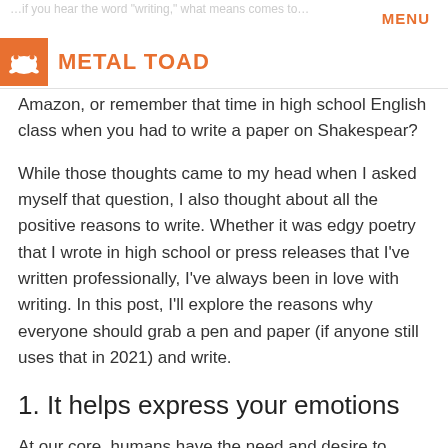MENU
[Figure (logo): Metal Toad logo: orange square with white toad icon, followed by orange bold text METAL TOAD]
Amazon, or remember that time in high school English class when you had to write a paper on Shakespear?
While those thoughts came to my head when I asked myself that question, I also thought about all the positive reasons to write. Whether it was edgy poetry that I wrote in high school or press releases that I've written professionally, I've always been in love with writing. In this post, I'll explore the reasons why everyone should grab a pen and paper (if anyone still uses that in 2021) and write.
1. It helps express your emotions
At our core, humans have the need and desire to